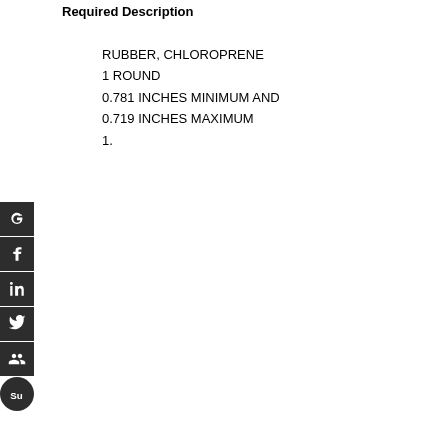Required Description
RUBBER, CHLOROPRENE
1 ROUND
0.781 INCHES MINIMUM AND
0.719 INCHES MAXIMUM
1.
[Figure (other): Social media share buttons: Google+, Facebook, LinkedIn, Twitter, a person/group icon, StumbleUpon]